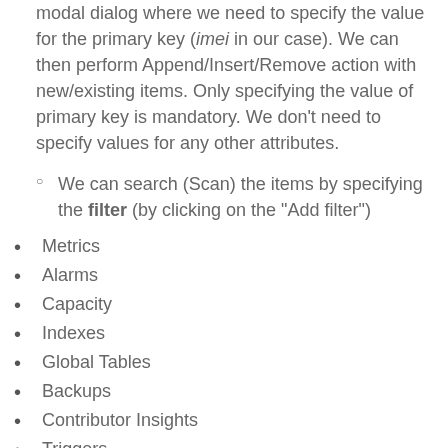modal dialog where we need to specify the value for the primary key (imei in our case). We can then perform Append/Insert/Remove action with new/existing items. Only specifying the value of primary key is mandatory. We don't need to specify values for any other attributes.
We can search (Scan) the items by specifying the filter (by clicking on the "Add filter")
Metrics
Alarms
Capacity
Indexes
Global Tables
Backups
Contributor Insights
Triggers